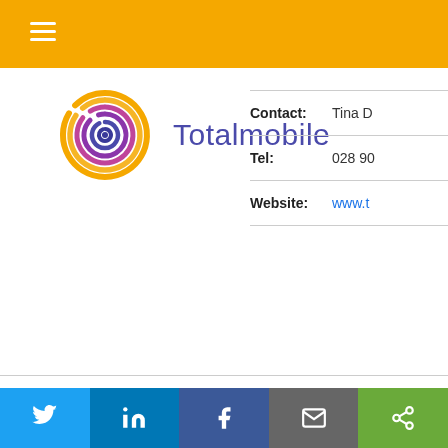Totalmobile
[Figure (logo): Totalmobile logo: concentric spiral circles in orange, purple, and pink gradient, with company name 'Totalmobile' in purple sans-serif text]
| Contact: | Tina D |
| Tel: | 028 90 |
| Website: | www.t |
Totalmobile is the UK market leader in field service and mobile management technology, helping organisations deliver more highest quality and at reduced cost.
Twitter | LinkedIn | Facebook | Email | Share